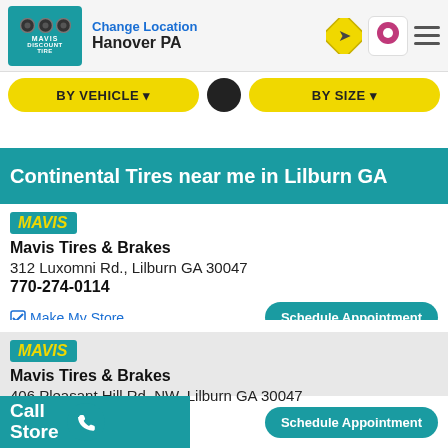Change Location
Hanover PA
BY VEHICLE    BY SIZE
Continental Tires near me in Lilburn GA
[Figure (logo): Mavis logo badge - teal background with yellow italic MAVIS text]
Mavis Tires & Brakes
312 Luxomni Rd., Lilburn GA 30047
770-274-0114
Make My Store
Schedule Appointment
[Figure (logo): Mavis logo badge - teal background with yellow italic MAVIS text]
Mavis Tires & Brakes
406 Pleasant Hill Rd. NW, Lilburn GA 30047
Call Store
Schedule Appointment